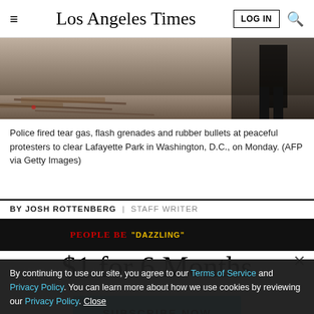Los Angeles Times
[Figure (photo): Photo of police and protesters at Lafayette Park — ground-level view showing pavement, debris, and dark figure silhouette]
Police fired tear gas, flash grenades and rubber bullets at peaceful protesters to clear Lafayette Park in Washington, D.C., on Monday. (AFP via Getty Images)
BY JOSH ROTTENBERG | STAFF WRITER
LIMITED-TIME OFFER
$1 for 6 Months
SUBSCRIBE NOW
By continuing to use our site, you agree to our Terms of Service and Privacy Policy. You can learn more about how we use cookies by reviewing our Privacy Policy. Close